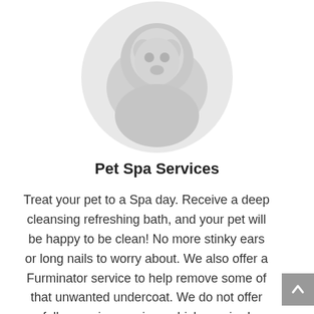[Figure (photo): A circular cropped photo of a pet (appears to be a dog or cat) with light gray/silver tones, showing the animal's face and upper body.]
Pet Spa Services
Treat your pet to a Spa day. Receive a deep cleansing refreshing bath, and your pet will be happy to be clean! No more stinky ears or long nails to worry about. We also offer a Furminator service to help remove some of that unwanted undercoat. We do not offer full grooming services which required clipping the